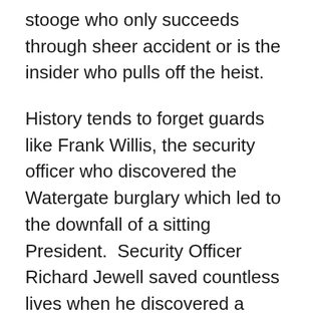stooge who only succeeds through sheer accident or is the insider who pulls off the heist.
History tends to forget guards like Frank Willis, the security officer who discovered the Watergate burglary which led to the downfall of a sitting President.  Security Officer Richard Jewell saved countless lives when he discovered a bomb at the 1996 Summer Olympics only to be vilified by law enforcement and the media as the prime suspect.  He was later exonerated, but only after significant personal turmoil.
Many of us know that 343 fire fighters and 60